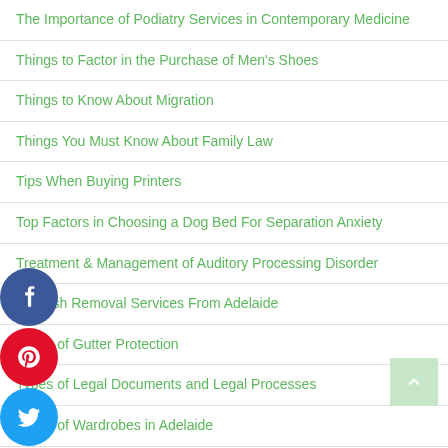The Importance of Podiatry Services in Contemporary Medicine
Things to Factor in the Purchase of Men's Shoes
Things to Know About Migration
Things You Must Know About Family Law
Tips When Buying Printers
Top Factors in Choosing a Dog Bed For Separation Anxiety
Treatment & Management of Auditory Processing Disorder
Rubbish Removal Services From Adelaide
Types of Gutter Protection
Types of Legal Documents and Legal Processes
Types of Wardrobes in Adelaide
Understanding the Reasons Why SEO Is Essential to Your